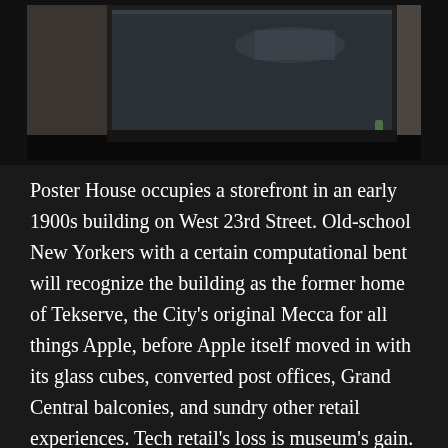[Figure (photo): Street-level exterior photograph of a storefront building on West 23rd Street, showing large windows with dark frames, stone facade, and reflected street scene.]
Poster House occupies a storefront in an early 1900s building on West 23rd Street. Old-school New Yorkers with a certain computational bent will recognize the building as the former home of Tekserve, the City's original Mecca for all things Apple, before Apple itself moved in with its glass cubes, converted post offices, Grand Central balconies, and sundry other retail experiences. Tech retail's loss is museum's gain.
Within, visitors will find two floors of gallery spaces, along with the requisite café (quite a good one at that) and gift shop. The architecture is a really interesting hybrid, with the old 19th century columns and high ceilings preserved, but with highly contemporary